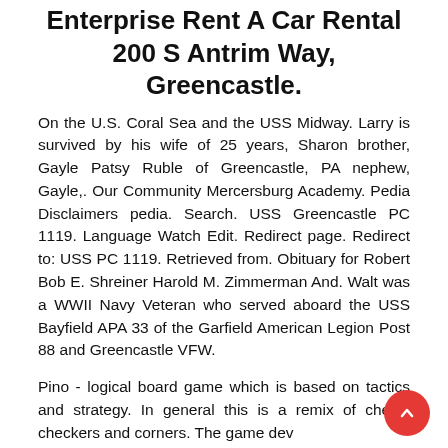Enterprise Rent A Car Rental 200 S Antrim Way, Greencastle.
On the U.S. Coral Sea and the USS Midway. Larry is survived by his wife of 25 years, Sharon brother, Gayle Patsy Ruble of Greencastle, PA nephew, Gayle,. Our Community Mercersburg Academy. Pedia Disclaimers pedia. Search. USS Greencastle PC 1119. Language Watch Edit. Redirect page. Redirect to: USS PC 1119. Retrieved from. Obituary for Robert Bob E. Shreiner Harold M. Zimmerman And. Walt was a WWII Navy Veteran who served aboard the USS Bayfield APA 33 of the Garfield American Legion Post 88 and Greencastle VFW.
Pino - logical board game which is based on tactics and strategy. In general this is a remix of chess, checkers and corners. The game dev...